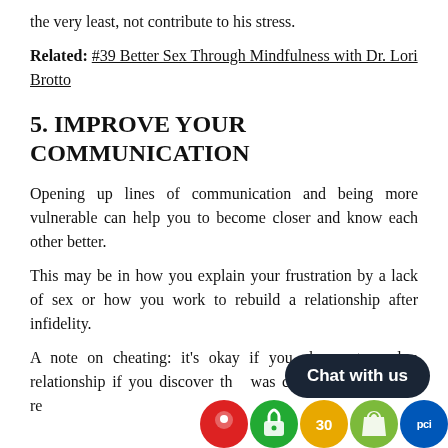the very least, not contribute to his stress.
Related: #39 Better Sex Through Mindfulness with Dr. Lori Brotto
5. IMPROVE YOUR COMMUNICATION
Opening up lines of communication and being more vulnerable can help you to become closer and know each other better.
This may be in how you explain your frustration by a lack of sex or how you work to rebuild a relationship after infidelity.
A note on cheating: it's okay if you choose to end a relationship if you discover that your partner was cheating. Sometimes rel...